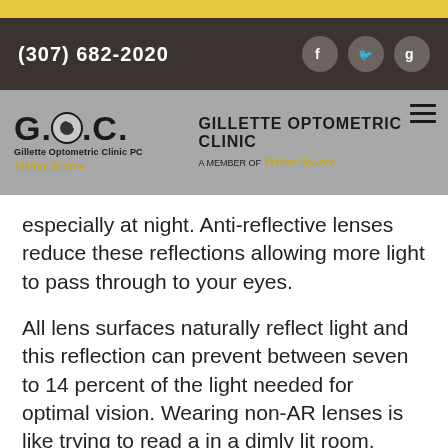(307) 682-2020
[Figure (logo): Gillette Optometric Clinic logo with G.O.C. text and Vision Source branding on grey background]
especially at night. Anti-reflective lenses reduce these reflections allowing more light to pass through to your eyes.
All lens surfaces naturally reflect light and this reflection can prevent between seven to 14 percent of the light needed for optimal vision. Wearing non-AR lenses is like trying to read a in a dimly lit room. Since AR lenses allow more light to reach your eyes by reducing